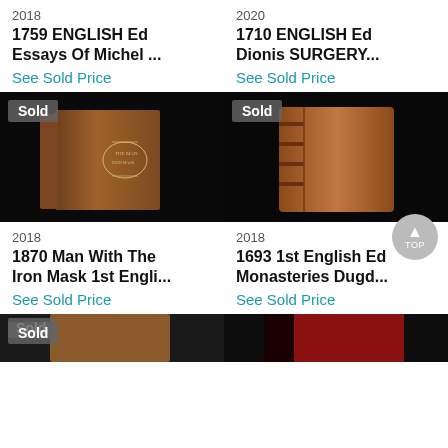2018
1759 ENGLISH Ed Essays Of Michel ...
See Sold Price
2020
1710 ENGLISH Ed Dionis SURGERY...
See Sold Price
[Figure (photo): Antique brown leather book shown from front and spine, with gold embossed decoration, against black background. 'Sold' badge in top left.]
[Figure (photo): Antique brown leather book shown from spine and back, aged binding with raised bands, against dark background. 'Sold' badge in top left.]
2018
1870 Man With The Iron Mask 1st Engli...
See Sold Price
2018
1693 1st English Ed Monasteries Dugd...
See Sold Price
[Figure (photo): Partial view of antique book with 'Sold' badge, cut off at bottom of page.]
[Figure (photo): Partial view of antique book with dark/red cover, cut off at bottom of page.]